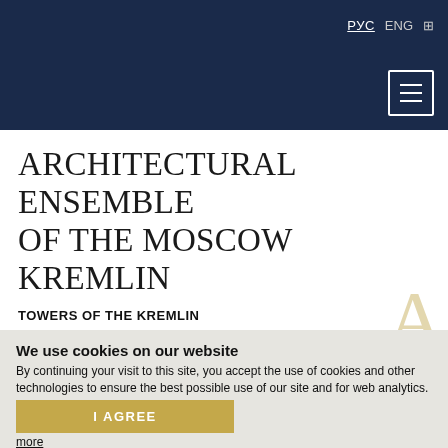РУС  ENG  [icon]
ARCHITECTURAL ENSEMBLE OF THE MOSCOW KREMLIN
TOWERS OF THE KREMLIN
TAINITSKAYA TOWER
We use cookies on our website
By continuing your visit to this site, you accept the use of cookies and other technologies to ensure the best possible use of our site and for web analytics.
I AGREE
more